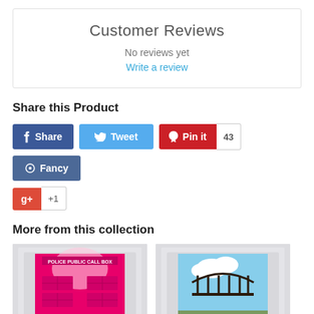Customer Reviews
No reviews yet
Write a review
Share this Product
[Figure (infographic): Social share buttons: Facebook Share, Tweet, Pinterest Pin it (count: 43), Fancy, Google+ +1]
More from this collection
[Figure (photo): Product image: door mural showing pink POLICE PUBLIC CALL BOX (Doctor Who TARDIS) design]
[Figure (photo): Product image: door mural showing a scenic outdoor image with a decorative gate or fence]